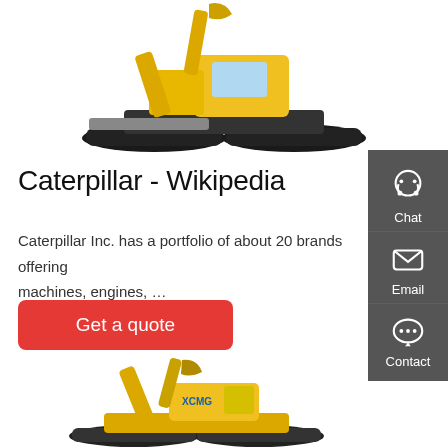[Figure (photo): Yellow and black Caterpillar mini excavator on white background, top portion visible]
Caterpillar - Wikipedia
Caterpillar Inc. has a portfolio of about 20 brands offering machines, engines, …
[Figure (infographic): Red 'Get a quote' button]
[Figure (infographic): Gray sidebar with Chat, Email, Contact icons]
[Figure (photo): Yellow XCMG mini excavator on white background, bottom portion visible]